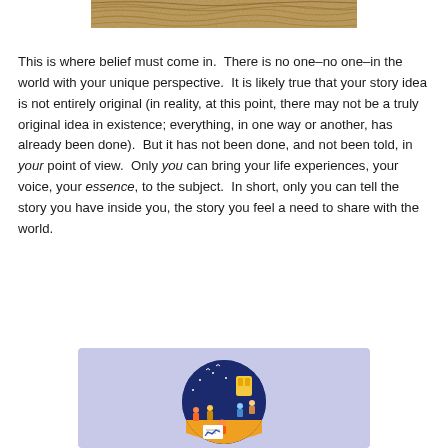[Figure (photo): Top portion of a sandy/textured surface image, cropped at the top of the page]
This is where belief must come in.  There is no one–no one–in the world with your unique perspective.  It is likely true that your story idea is not entirely original (in reality, at this point, there may not be a truly original idea in existence; everything, in one way or another, has already been done).  But it has not been done, and not been told, in your point of view.  Only you can bring your life experiences, your voice, your essence, to the subject.  In short, only you can tell the story you have inside you, the story you feel a need to share with the world.
[Figure (illustration): Illustration on a lavender background showing a circular scene with people working/reading at night, with a yellow and blue color scheme inside the circle]